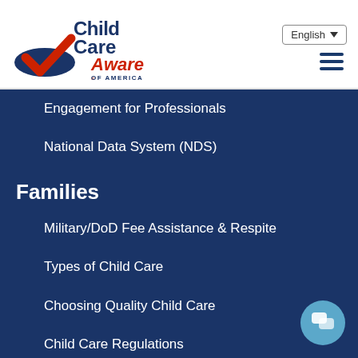[Figure (logo): Child Care Aware of America logo with red checkmark and blue text]
Engagement for Professionals
National Data System (NDS)
Families
Military/DoD Fee Assistance & Respite
Types of Child Care
Choosing Quality Child Care
Child Care Regulations
Cost of Child Care